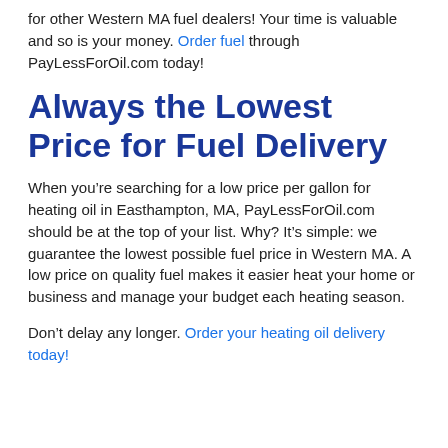for other Western MA fuel dealers! Your time is valuable and so is your money. Order fuel through PayLessForOil.com today!
Always the Lowest Price for Fuel Delivery
When you’re searching for a low price per gallon for heating oil in Easthampton, MA, PayLessForOil.com should be at the top of your list. Why? It’s simple: we guarantee the lowest possible fuel price in Western MA. A low price on quality fuel makes it easier heat your home or business and manage your budget each heating season.
Don’t delay any longer. Order your heating oil delivery today!